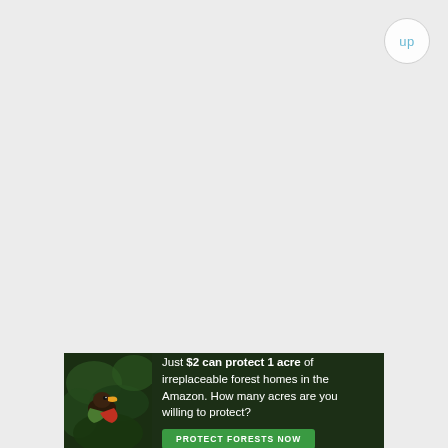up
[Figure (infographic): Advertisement banner: dark forest/jungle background with a bird (possibly a toucan or parrot) on the left. Text reads: 'Just $2 can protect 1 acre of irreplaceable forest homes in the Amazon. How many acres are you willing to protect?' with a green 'PROTECT FORESTS NOW' button.]